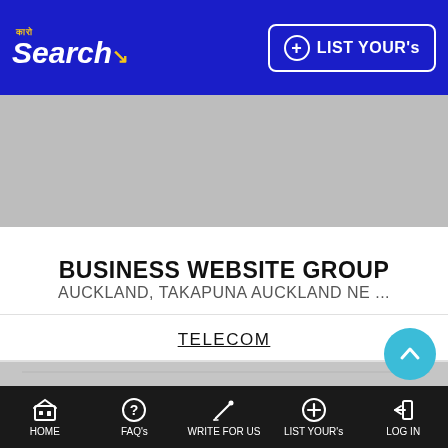Karo Search — LIST YOUR's
[Figure (photo): Gray placeholder image at top of page]
BUSINESS WEBSITE GROUP
AUCKLAND, TAKAPUNA AUCKLAND NE ...
TELECOM
[Figure (photo): Large gray placeholder image with image icon in center]
HOME   FAQ's   WRITE FOR US   LIST YOUR's   LOG IN